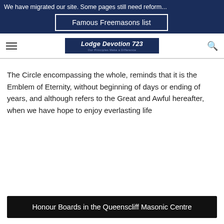We have migrated our site. Some pages still need reform...
Famous Freemasons list
[Figure (logo): Lodge Devotion 723 logo with subtitle 'Our Principles Make a Difference']
The Circle encompassing the whole, reminds that it is the Emblem of Eternity, without beginning of days or ending of years, and although refers to the Great and Awful hereafter, when we have hope to enjoy everlasting life
Honour Boards in the Queenscliff Masonic Centre